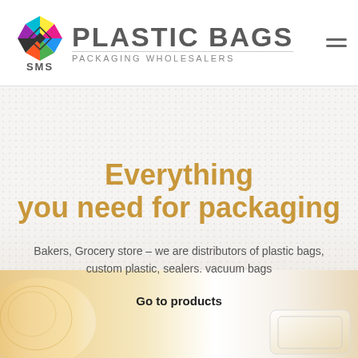[Figure (logo): SMS Plastic Bags logo with colorful geometric diamond/star shape mark and SMS text below, followed by PLASTIC BAGS in large grey bold text and PACKAGING WHOLESALERS subtitle]
Everything
you need for packaging
Bakers, Grocery store – we are distributors of plastic bags, custom plastic, sealers. vacuum bags
Go to products
[Figure (photo): Bottom portion showing plastic bags and packaging products on a light background]